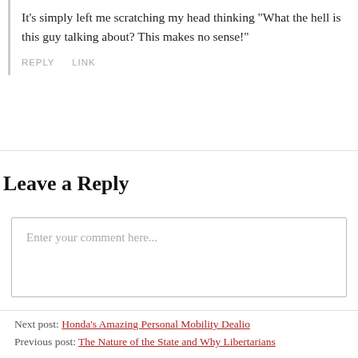It’s simply left me scratching my head thinking “What the hell is this guy talking about? This makes no sense!”
REPLY   LINK
Leave a Reply
Enter your comment here...
Next post: Honda’s Amazing Personal Mobility Dealio
Previous post: The Nature of the State and Why Libertarians